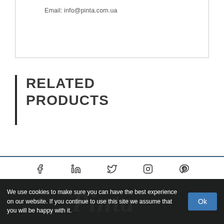Email: info@pinta.com.ua
RELATED PRODUCTS
[Figure (other): Social media icons row: Facebook, LinkedIn, Twitter, Instagram, Pinterest]
[Figure (logo): Pinta logo in white italic script on dark background]
We use cookies to make sure you can have the best experience on our website. If you continue to use this site we assume that you will be happy with it.